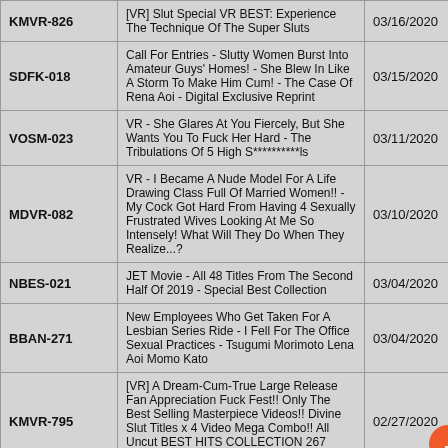| Code | Title | Date |
| --- | --- | --- |
| KMVR-826 | [VR] Slut Special VR BEST: Experience The Technique Of The Super Sluts | 03/16/2020 |
| SDFK-018 | Call For Entries - Slutty Women Burst Into Amateur Guys' Homes! - She Blew In Like A Storm To Make Him Cum! - The Case Of Rena Aoi - Digital Exclusive Reprint | 03/15/2020 |
| VOSM-023 | VR - She Glares At You Fiercely, But She Wants You To Fuck Her Hard - The Tribulations Of 5 High S**********ls | 03/11/2020 |
| MDVR-082 | VR - I Became A Nude Model For A Life Drawing Class Full Of Married Women!! - My Cock Got Hard From Having 4 Sexually Frustrated Wives Looking At Me So Intensely! What Will They Do When They Realize...? | 03/10/2020 |
| NBES-021 | JET Movie - All 48 Titles From The Second Half Of 2019 - Special Best Collection | 03/04/2020 |
| BBAN-271 | New Employees Who Get Taken For A Lesbian Series Ride - I Fell For The Office Sexual Practices - Tsugumi Morimoto Lena Aoi Momo Kato | 03/04/2020 |
| KMVR-795 | [VR] A Dream-Cum-True Large Release Fan Appreciation Fuck Fest!! Only The Best Selling Masterpiece Videos!! Divine Slut Titles x 4 Video Mega Combo!! All Uncut BEST HITS COLLECTION 267 Minutes | 02/27/2020 |